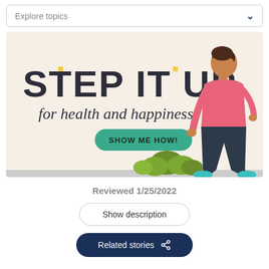Explore topics
[Figure (illustration): Step It Up for health and happiness banner with a walking person illustration and green bushes on a cream background, with a teal 'SHOW ME HOW!' button]
Reviewed 1/25/2022
Show description
Related stories